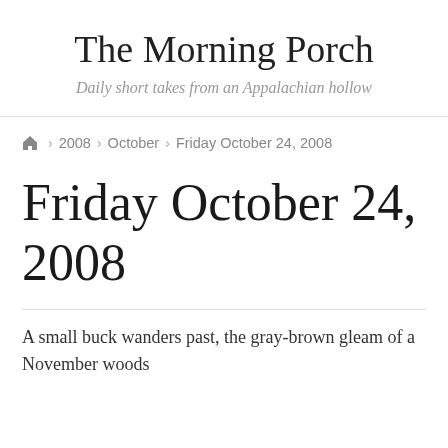The Morning Porch
Daily short takes from an Appalachian hollow
🏠 > 2008 > October > Friday October 24, 2008
Friday October 24, 2008
A small buck wanders past, the gray-brown gleam of a November woods